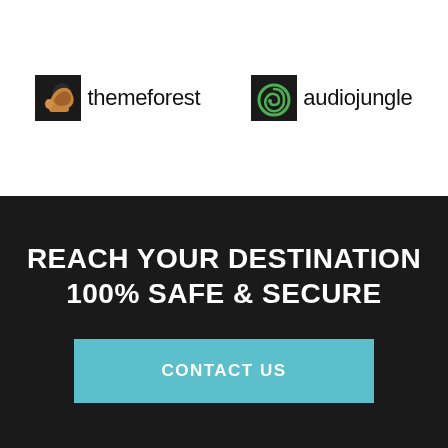[Figure (logo): ThemeForest logo: dark square icon with hand/leaf shape and text 'themeforest']
[Figure (logo): AudioJungle logo: dark square icon with circular G-clef and text 'audiojungle']
REACH YOUR DESTINATION 100% SAFE & SECURE
CONTACT US